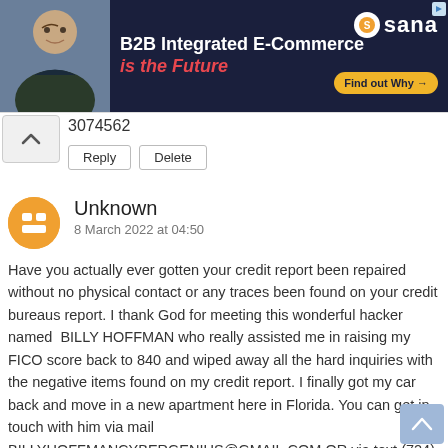[Figure (screenshot): Ad banner: B2B Integrated E-Commerce is the Future — Sana logo with Find out Why button]
3074562
Reply   Delete
Unknown
8 March 2022 at 04:50
Have you actually ever gotten your credit report been repaired without no physical contact or any traces been found on your credit bureaus report. I thank God for meeting this wonderful hacker named  BILLY HOFFMAN who really assisted me in raising my FICO score back to 840 and wiped away all the hard inquiries with the negative items found on my credit report. I finally got my car back and move in a new apartment here in Florida. You can get in touch with him via mail BILLYHOFFMANCYBERGENIUS@GMAIL.COM OR via text (724) 241-8469
Reply   Delete